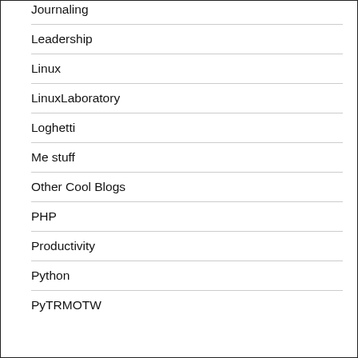Journaling
Leadership
Linux
LinuxLaboratory
Loghetti
Me stuff
Other Cool Blogs
PHP
Productivity
Python
PyTRMOTW